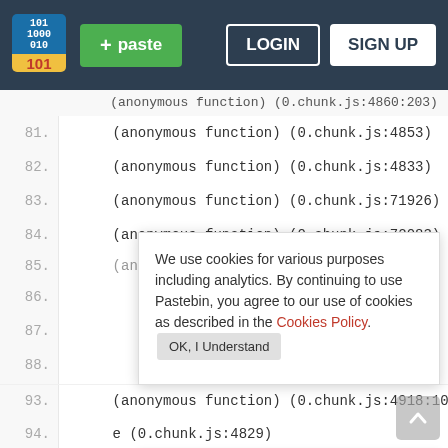[Figure (screenshot): Pastebin website navigation bar with logo, green paste button, LOGIN and SIGN UP buttons on dark navy background]
(anonymous function) (0.chunk.js:4860:203)
81. (anonymous function) (0.chunk.js:4853)
82. (anonymous function) (0.chunk.js:4833)
83. (anonymous function) (0.chunk.js:71926)
84. (anonymous function) (0.chunk.js:72083)
85. (anonymous function) (0.chunk.js:71022)
We use cookies for various purposes including analytics. By continuing to use Pastebin, you agree to our use of cookies as described in the Cookies Policy. OK, I Understand
89. (anonymous function) (0.chunk.js:71923)
Not a member of Pastebin yet? Sign Up, it unlocks many cool features!
90.
91.
92.
93. (anonymous function) (0.chunk.js:4918:108)
94. e (0.chunk.js:4829)
95. (anonymous function) (0.chunk.js:12082)
96. (anonymous function) (0.chunk.js:13763)